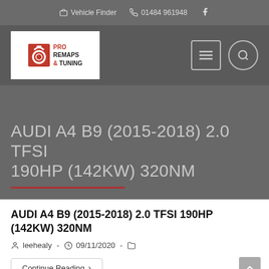Vehicle Finder  01484 961948
[Figure (logo): Pro Remaps & Tuning logo — red turbo icon with white and dark text on white background]
AUDI A4 B9 (2015-2018) 2.0 TFSI 190HP (142KW) 320NM
AUDI A4 B9 (2015-2018) 2.0 TFSI 190HP (142KW) 320NM
leehealy - 09/11/2020 -
Continue Reading ›